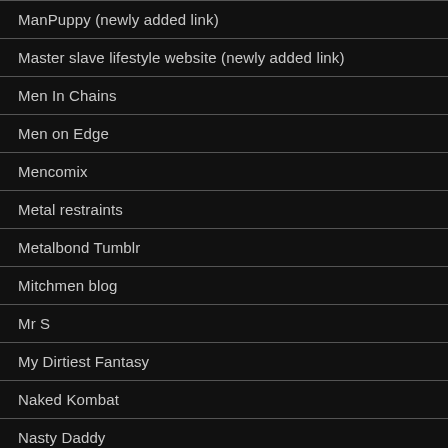ManPuppy (newly added link)
Master slave lifestyle website (newly added link)
Men In Chains
Men on Edge
Mencomix
Metal restraints
Metalbond Tumblr
Mitchmen blog
Mr S
My Dirtiest Fantasy
Naked Kombat
Nasty Daddy